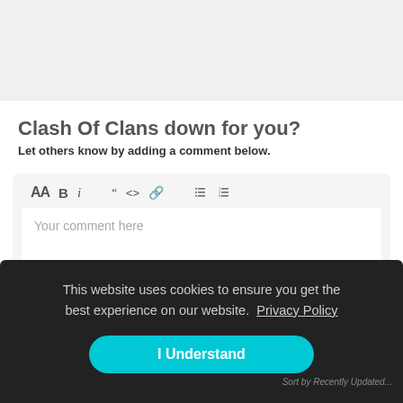Clash Of Clans down for you?
Let others know by adding a comment below.
[Figure (screenshot): Comment editor toolbar with formatting buttons: AA, B, i, quote, code, link, list, ordered list. Below is a text area with placeholder text 'Your comment here'.]
This website uses cookies to ensure you get the best experience on our website.  Privacy Policy
I Understand